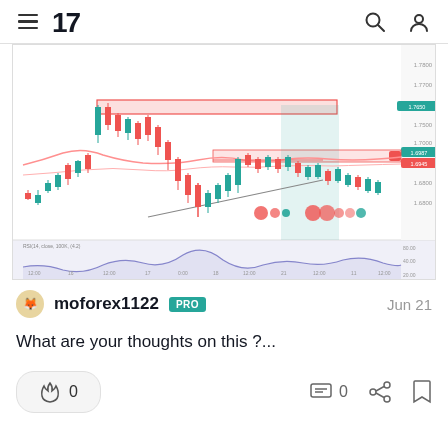TradingView navigation header with hamburger menu, TV logo, search and user icons
[Figure (continuous-plot): Candlestick chart showing forex price action with red resistance zone, ascending triangle pattern, moving average curves, and RSI indicator below. Price ranging approximately 1.6800-1.7800. Green highlight box on right side indicating potential breakout zone.]
moforex1122 PRO   Jun 21
What are your thoughts on this ?...
0  0